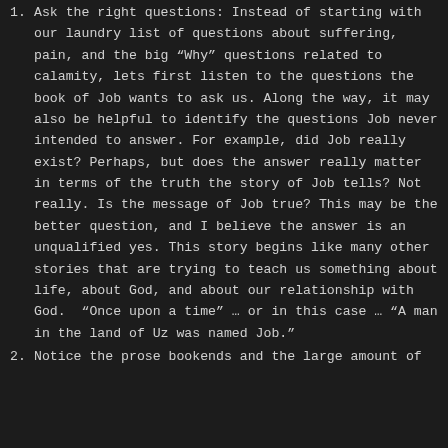Ask the right questions: Instead of starting with our laundry list of questions about suffering, pain, and the big “Why” questions related to calamity, lets first listen to the questions the book of Job wants to ask us. Along the way, it may also be helpful to identify the questions Job never intended to answer. For example, did Job really exist? Perhaps, but does the answer really matter in terms of the truth the story of Job tells? Not really. Is the message of Job true? This may be the better question, and I believe the answer is an unqualified yes. This story begins like many other stories that are trying to teach us something about life, about God, and about our relationship with God. “Once upon a time” … or in this case … “A man in the land of Uz was named Job.”
Notice the prose bookends and the large amount of